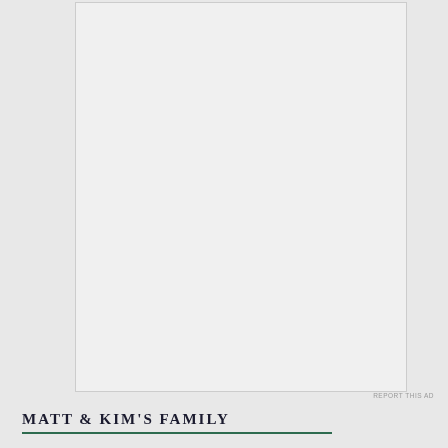[Figure (other): Advertisement placeholder box — large white/light gray rectangle with border]
REPORT THIS AD
MATT & KIM'S FAMILY